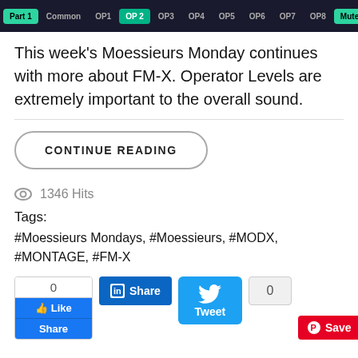[Figure (screenshot): Dark UI toolbar with tabs: Part 1, Common, OP1, OP2 (highlighted teal), OP3, OP4, OP5, OP6, OP7, OP8, Mute, Solo]
This week's Moessieurs Monday continues with more about FM-X. Operator Levels are extremely important to the overall sound.
CONTINUE READING
1346 Hits
Tags:
#Moessieurs Mondays, #Moessieurs, #MODX, #MONTAGE, #FM-X